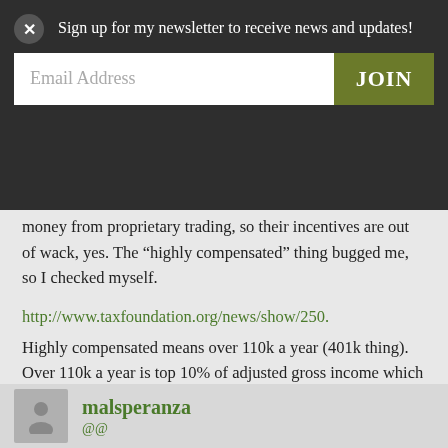Sign up for my newsletter to receive news and updates!
Email Address
JOIN
money from proprietary trading, so their incentives are out of wack, yes. The “highly compensated” thing bugged me, so I checked myself.
http://www.taxfoundation.org/news/show/250.
Highly compensated means over 110k a year (401k thing). Over 110k a year is top 10% of adjusted gross income which is 40% of the income earned (and 70% of the taxes). A third of the AGI is earned by people being paid 160k and above which is 1 in 20 earners.
malsperanza